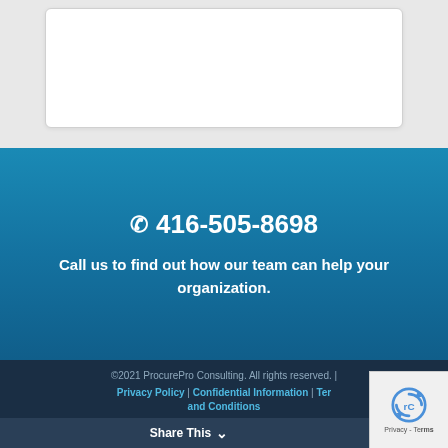[Figure (other): White rounded rectangle form/box on light gray background]
📞 416-505-8698
Call us to find out how our team can help your organization.
©2021 ProcurePro Consulting. All rights reserved. | Privacy Policy | Confidential Information | Terms and Conditions
Share This